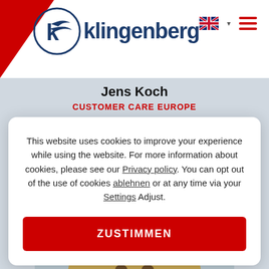[Figure (logo): Klingenberg company logo with circular bird emblem and brand name text in dark blue]
[Figure (screenshot): UK flag icon with dropdown arrow and hamburger menu icon in top-right navigation]
Jens Koch
CUSTOMER CARE EUROPE
This website uses cookies to improve your experience while using the website. For more information about cookies, please see our Privacy policy. You can opt out of the use of cookies ablehnen or at any time via your Settings Adjust.
[Figure (photo): Portrait photo of a smiling middle-aged blonde woman against a light blue/grey background]
ZUSTIMMEN